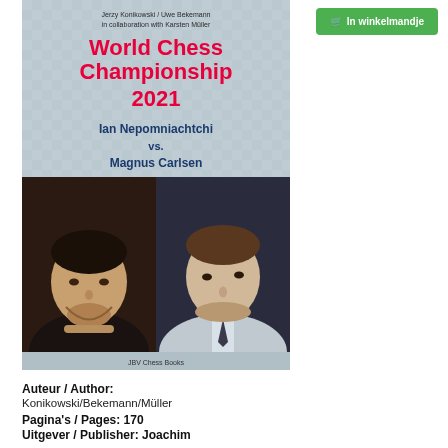[Figure (photo): Book cover for 'World Chess Championship 2021: Ian Nepomniachtchi vs. Magnus Carlsen' by Konikowski/Bekemann in collaboration with Karsten Müller. Published by JBV Chess Books. Features chess board pattern background, red title text, navy player names, and photos of both chess players.]
🛒 In winkelmandje
Auteur / Author:
Konikowski/Bekemann/Müller
Pagina's / Pages: 170
Uitgever / Publisher: Joachim